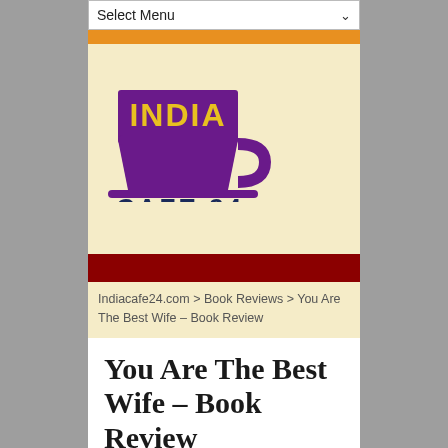Select Menu
[Figure (logo): India Cafe 24 logo — a purple coffee cup with 'INDIA' in yellow lettering on a purple rectangle, with 'CAFE 24' in dark blue below]
Indiacafe24.com > Book Reviews > You Are The Best Wife – Book Review
You Are The Best Wife – Book Review